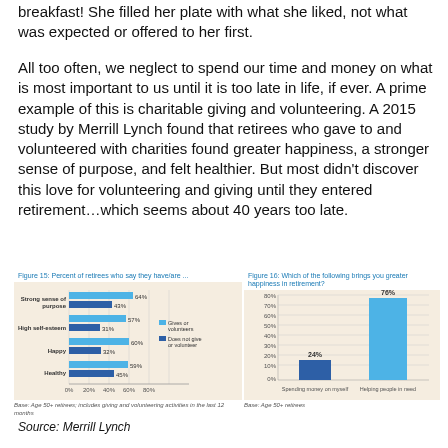breakfast! She filled her plate with what she liked, not what was expected or offered to her first.
All too often, we neglect to spend our time and money on what is most important to us until it is too late in life, if ever. A prime example of this is charitable giving and volunteering. A 2015 study by Merrill Lynch found that retirees who gave to and volunteered with charities found greater happiness, a stronger sense of purpose, and felt healthier. But most didn't discover this love for volunteering and giving until they entered retirement…which seems about 40 years too late.
Figure 15: Percent of retirees who say they have/are ...
[Figure (bar-chart): Figure 15: Percent of retirees who say they have/are ...]
Base: Age 50+ retirees; includes giving and volunteering activities in the last 12 months
Figure 16: Which of the following brings you greater happiness in retirement?
[Figure (bar-chart): Figure 16: Which of the following brings you greater happiness in retirement?]
Base: Age 50+ retirees
Source: Merrill Lynch